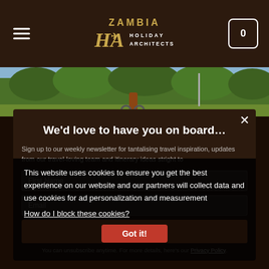Zambia Holiday Architects — Navigation header with logo and cart
[Figure (photo): Outdoor photo strip showing trees and a figure on a bicycle or motorbike, green vegetation background]
We'd love to have you on board…
Sign up to our weekly newsletter for tantalising travel inspiration, updates from our travel-loving team and itinerary ideas stright to
This website uses cookies to ensure you get the best experience on our website and our partners will collect data and use cookies for ad personalization and measurement
How do I block these cookies?
First name
Email
Subscribe
Got it!
You can unsubscribe anytime. For more details, here's our Privacy Policy.